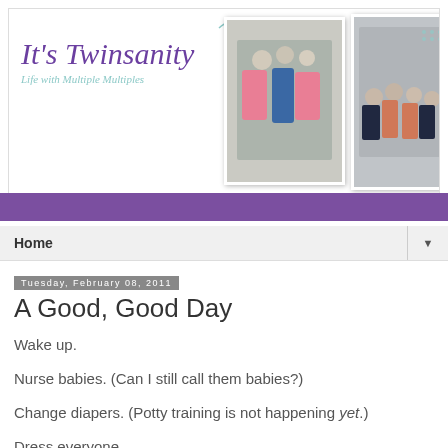[Figure (photo): Blog header banner for 'It's Twinsanity - Life with Multiple Multiples' showing logo text and two family photos with multiple children]
Home
Tuesday, February 08, 2011
A Good, Good Day
Wake up.
Nurse babies. (Can I still call them babies?)
Change diapers. (Potty training is not happening yet.)
Dress everyone.